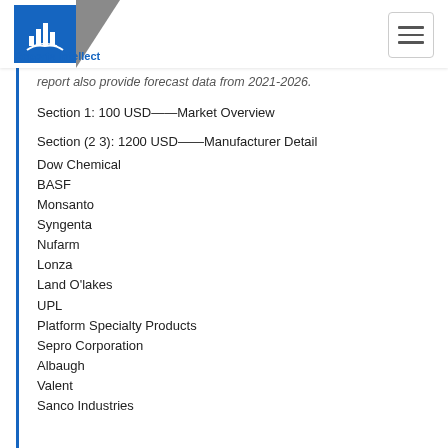Reports Intellect
report also provide forecast data from 2021-2026.
Section 1: 100 USD——Market Overview
Section (2 3): 1200 USD——Manufacturer Detail
Dow Chemical
BASF
Monsanto
Syngenta
Nufarm
Lonza
Land O'lakes
UPL
Platform Specialty Products
Sepro Corporation
Albaugh
Valent
Sanco Industries